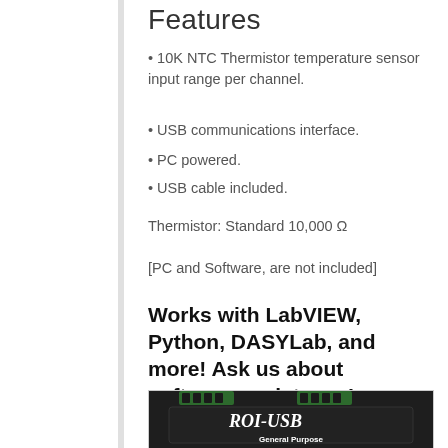Features
10K NTC Thermistor temperature sensor input range per channel.
USB communications interface.
PC powered.
USB cable included.
Thermistor: Standard 10,000 Ω
[PC and Software, are not included]
Works with LabVIEW, Python, DASYLab, and more! Ask us about software assistance!
[Figure (photo): Photo of ROI-USB General Purpose device, a dark rectangular hardware unit with green screw terminal connectors on top and the label 'ROI-USB General Purpose' on the front panel.]